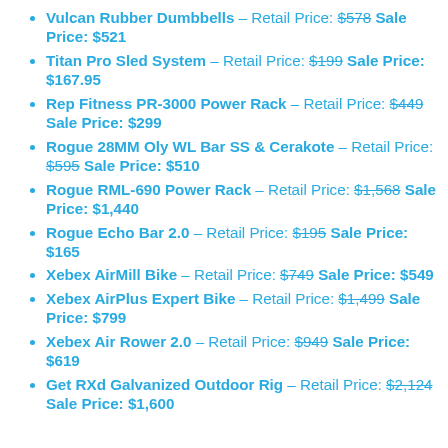Vulcan Rubber Dumbbells – Retail Price: $578 Sale Price: $521
Titan Pro Sled System – Retail Price: $199 Sale Price: $167.95
Rep Fitness PR-3000 Power Rack – Retail Price: $449 Sale Price: $299
Rogue 28MM Oly WL Bar SS & Cerakote – Retail Price: $595 Sale Price: $510
Rogue RML-690 Power Rack – Retail Price: $1,568 Sale Price: $1,440
Rogue Echo Bar 2.0 – Retail Price: $195 Sale Price: $165
Xebex AirMill Bike – Retail Price: $749 Sale Price: $549
Xebex AirPlus Expert Bike – Retail Price: $1,499 Sale Price: $799
Xebex Air Rower 2.0 – Retail Price: $949 Sale Price: $619
Get RXd Galvanized Outdoor Rig – Retail Price: $2,124 Sale Price: $1,600